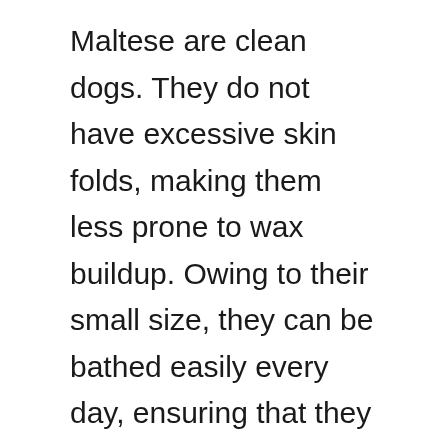Maltese are clean dogs. They do not have excessive skin folds, making them less prone to wax buildup. Owing to their small size, they can be bathed easily every day, ensuring that they do not stink at all!
Conclusion
Everyone needs a faithful companion, and Maltese can be the one for you. They love you and will guard you always. However, finding a good Maltese from an ethical and responsible breeder can be